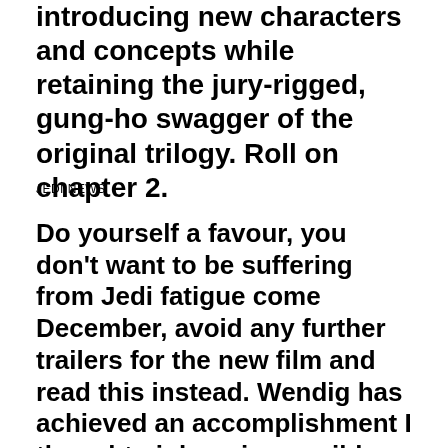introducing new characters and concepts while retaining the jury-rigged, gung-ho swagger of the original trilogy. Roll on chapter 2.
JEDI NEWS
Do yourself a favour, you don't want to be suffering from Jedi fatigue come December, avoid any further trailers for the new film and read this instead. Wendig has achieved an accomplishment I thought nigh on impossible. He has written a novel that has left me actively salivating for the next Star Wars movie. Well played Mr Wendig, well played. Turns out, thirty two years later, I haven't changed a bit; I am still completely in thrall to my childhood favourites. If The Force Awakens manages to capture the same sense of adventure that is